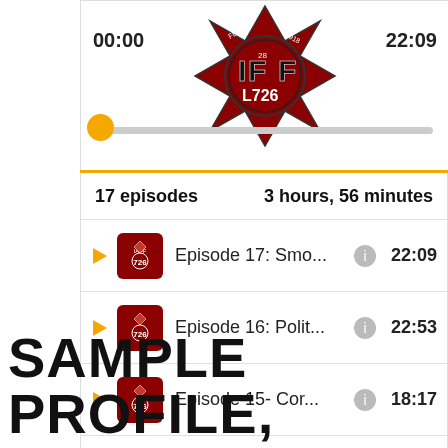[Figure (screenshot): Podcast app screenshot showing a fire department podcast (IAFF Local 726) with a player showing 00:00 / 22:09 and a progress bar, listing 17 episodes totaling 3 hours 56 minutes. Four episodes are visible: Episode 17: Smo... (22:09), Episode 16: Polit... (22:53), Episode 15- Cor... (18:17), Episode 14: The ... (32:19). Each row has a play button, thumbnail, info icon, and duration.]
SAMPLE PROFILE,